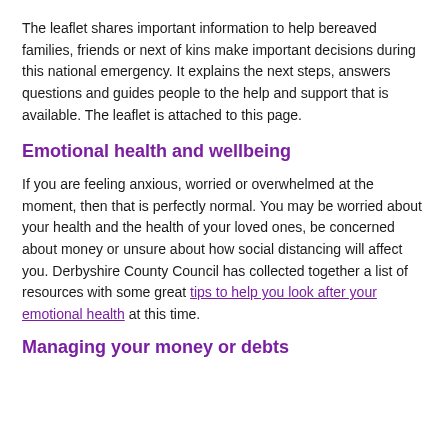The leaflet shares important information to help bereaved families, friends or next of kins make important decisions during this national emergency. It explains the next steps, answers questions and guides people to the help and support that is available. The leaflet is attached to this page.
Emotional health and wellbeing
If you are feeling anxious, worried or overwhelmed at the moment, then that is perfectly normal. You may be worried about your health and the health of your loved ones, be concerned about money or unsure about how social distancing will affect you. Derbyshire County Council has collected together a list of resources with some great tips to help you look after your emotional health at this time.
Managing your money or debts